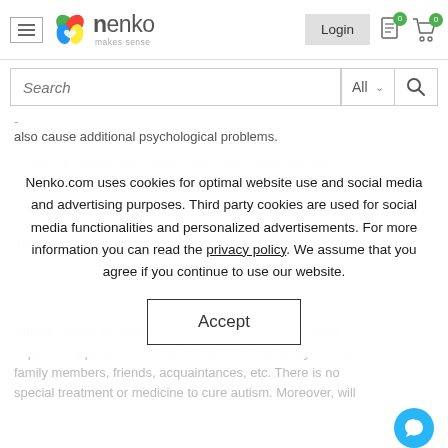Nenko logo navigation header with hamburger menu, Login button, cart and document icons
Search — All
-
also cause additional psychological problems.
Of course, people with autism also have many positive
Nenko.com uses cookies for optimal website use and social media and advertising purposes. Third party cookies are used for social media functionalities and personalized advertisements. For more information you can read the privacy policy. We assume that you agree if you continue to use our website.
Accept
Autism cannot be seen from the outside, but has a major impact on a persons life and on the life of the family or other family members, friends, acquaintances, etc. There is no special treatment or medicine to cure autism. Moreover, will
[Figure (logo): Nenko 'makes sense' logo with colorful leaf/heart icon]